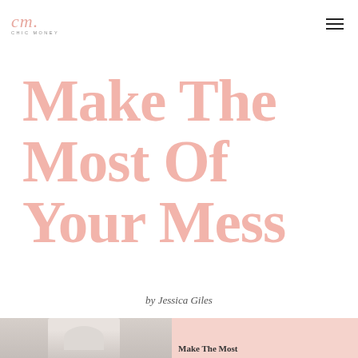cm. CHIC MONEY
Make The Most Of Your Mess
by Jessica Giles
[Figure (photo): Photo of a woman with glasses in a bright room, next to a pink box with the text 'Make The Most']